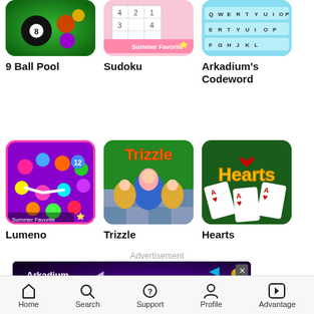[Figure (screenshot): 9 Ball Pool game icon - green billiards background with pool balls]
9 Ball Pool
[Figure (screenshot): Sudoku game icon - grid puzzle with pink Summer Favorite banner]
Sudoku
[Figure (screenshot): Arkadium's Codeword game icon - word puzzle keyboard layout in blue]
Arkadium's Codeword
[Figure (screenshot): Lumeno game icon - colorful bubble/dot connection puzzle with pink border, Summer Favorite badge]
Lumeno
[Figure (screenshot): Trizzle game icon - cartoon matryoshka dolls on a checkered floor]
Trizzle
[Figure (screenshot): Hearts card game icon - playing cards with hearts on green background]
Hearts
Advertisement
[Figure (screenshot): Arkadium Advantage advertisement banner - dark purple background with gem graphics, text: Arkadium ADVANTAGE, All of the fun...]
Home  Search  Support  Profile  Advantage